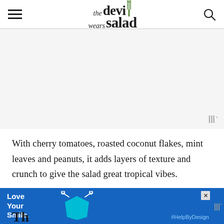[Figure (logo): The Devil Wears Salad logo with fork icon]
[Figure (other): Advertisement placeholder area with light gray background and Mediavine badge]
With cherry tomatoes, roasted coconut flakes, mint leaves and peanuts, it adds layers of texture and crunch to give the salad great tropical vibes.
[Figure (other): Bottom advertisement banner with blue background, Love Your Smile dental ad with cyan tooth icon and #HelpByDesign text]